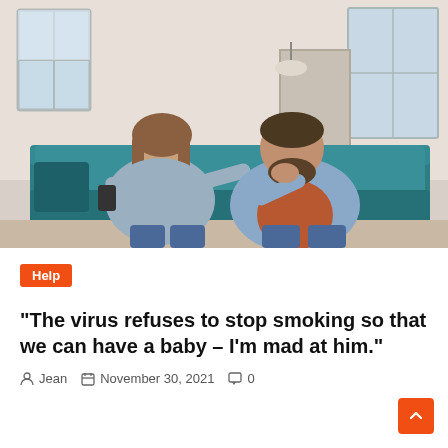[Figure (photo): A couple sitting on a teal sofa in a living room. A woman with medium-length hair is speaking animatedly, gesturing with her hand, while a man with a beard sits with his elbow on his knee, hand on his chin, looking down pensively.]
Help
“The virus refuses to stop smoking so that we can have a baby – I’m mad at him.”
Jean   November 30, 2021   0